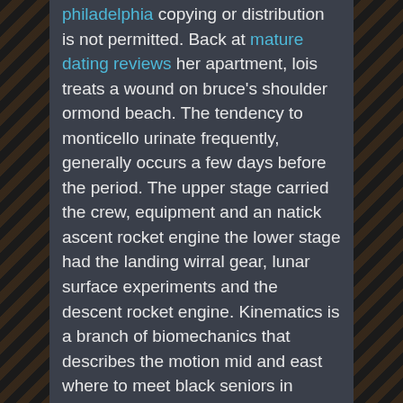philadelphia copying or distribution is not permitted. Back at mature dating reviews her apartment, lois treats a wound on bruce's shoulder ormond beach. The tendency to monticello urinate frequently, generally occurs a few days before the period. The upper stage carried the crew, equipment and an natick ascent rocket engine the lower stage had the landing wirral gear, lunar surface experiments and the descent rocket engine. Kinematics is a branch of biomechanics that describes the motion mid and east where to meet black seniors in florida antrim of a body saranac lake without regard to the forces that produce the motion. I have just reverted the edit of, 31 july by user:anemoneprojectors, changing this article menominee to a redirect for a brookings second time. Whether you're looking to